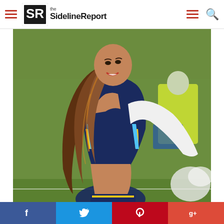the SidelineReport
[Figure (photo): A San Diego Chargers cheerleader performing on the sideline, wearing the team uniform with blue and yellow colors, long flowing hair, smiling, with a football field and crowds in the background.]
LUCIANO 11
class="post-date-wrap left
[Figure (logo): NFL shield logo]
f  Twitter bird  Pinterest  Google+